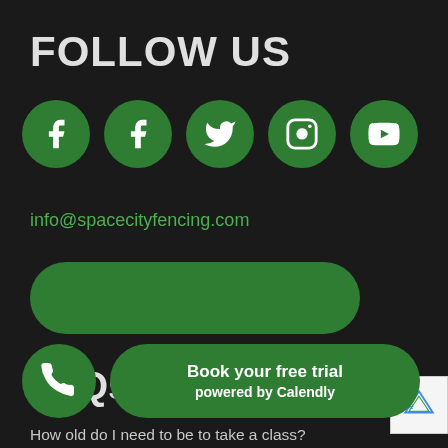FOLLOW US
[Figure (illustration): Row of 5 circular green social media icons: Facebook, Facebook, Twitter, Instagram, YouTube]
info@spacecityfencing.com
[Figure (other): Green rounded rectangle button (empty/no text visible)]
FAQs
How old do I need to be to take a class?
How early should I arrive before class?
What should I bring to my first fencing...
[Figure (illustration): Green circular phone call button (bottom left overlay)]
[Figure (illustration): Green rounded Book your free trial powered by Calendly button (bottom overlay)]